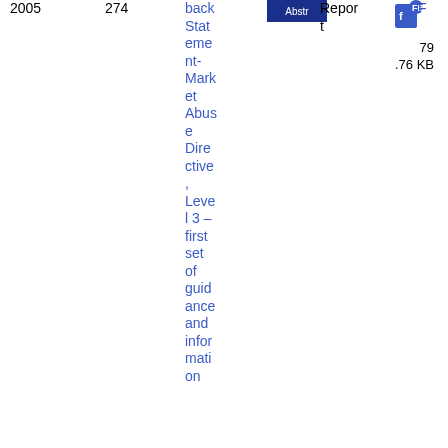| Year | Num | Title | Type | Format | Size |
| --- | --- | --- | --- | --- | --- |
| 2005 | 274 | Feedback Statement-Market Abuse Directive, Level 3 – first set of guidance and information | Report | F | 79.76 KB |